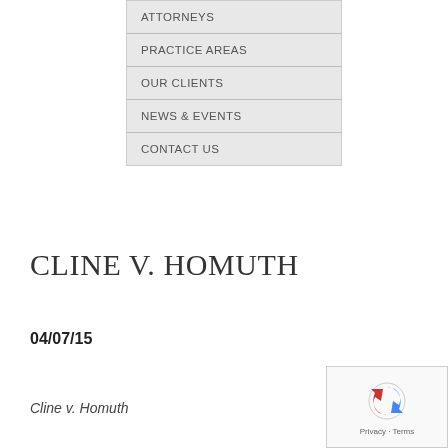ATTORNEYS
PRACTICE AREAS
OUR CLIENTS
NEWS & EVENTS
CONTACT US
CLINE V. HOMUTH
04/07/15
Cline v. Homuth
[Figure (logo): reCAPTCHA logo with Privacy and Terms text]